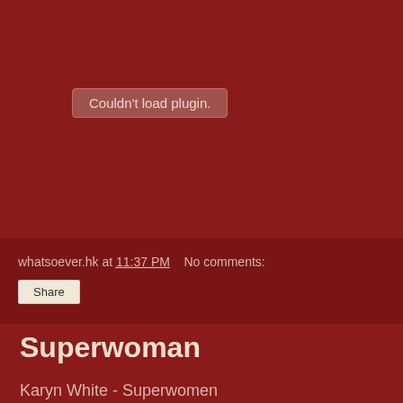[Figure (screenshot): Plugin area showing 'Couldn't load plugin.' error message in a grey rounded box on dark red background]
whatsoever.hk at 11:37 PM    No comments:
Share
Superwoman
Karyn White - Superwomen